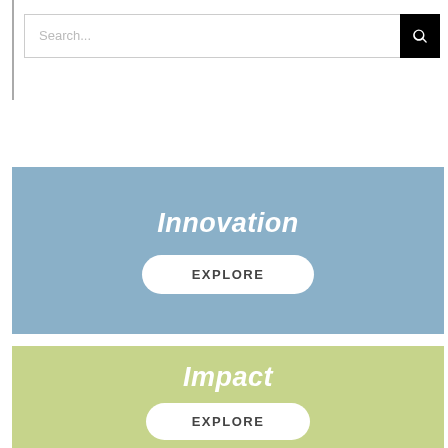[Figure (screenshot): Search bar with text input placeholder 'Search...' and a black search button with magnifying glass icon]
[Figure (infographic): Blue banner block with white italic bold text 'Innovation' and a white rounded button labeled 'EXPLORE']
[Figure (infographic): Green-yellow banner block with white italic bold text 'Impact' and a white rounded button labeled 'EXPLORE']